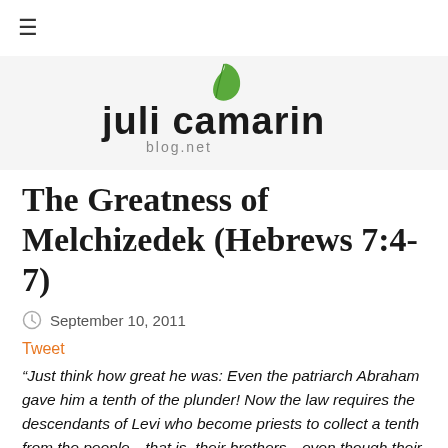≡
[Figure (logo): juli camarin blog logo with green leaf accent above text]
The Greatness of Melchizedek (Hebrews 7:4-7)
September 10, 2011
Tweet
“Just think how great he was: Even the patriarch Abraham gave him a tenth of the plunder! Now the law requires the descendants of Levi who become priests to collect a tenth from the people—that is, their brothers—even though their brothers are